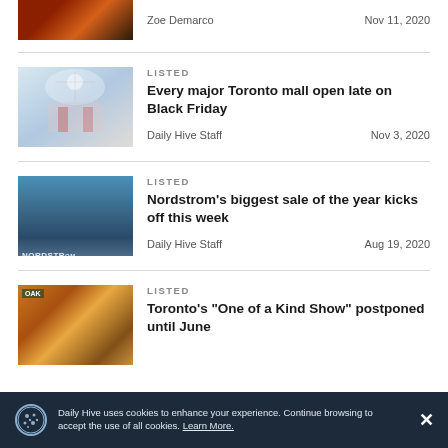Zoe Demarco    Nov 11, 2020
LISTED
Every major Toronto mall open late on Black Friday
Daily Hive Staff    Nov 3, 2020
LISTED
Nordstrom's biggest sale of the year kicks off this week
Daily Hive Staff    Aug 19, 2020
LISTED
Toronto's "One of a Kind Show" postponed until June
Daily Hive uses cookies to enhance your experience. Continue browsing to accept the use of all cookies. Learn More.